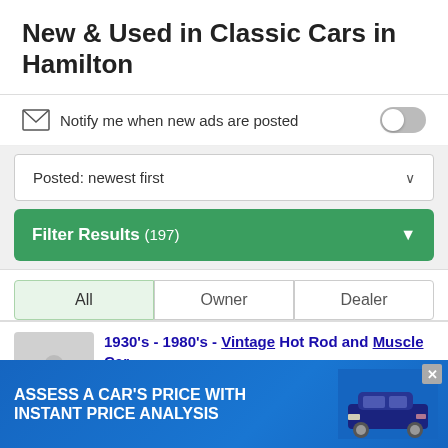New & Used in Classic Cars in Hamilton
Notify me when new ads are posted
Posted: newest first
Filter Results (197)
All	Owner	Dealer
1930's - 1980's - Vintage Hot Rod and Muscle Car
https://www.autocityclassic.com/
View our inventory of classic car and truck glass, 1930 - ...tore...
Classic Glass
[Figure (screenshot): Advertisement banner: ASSESS A CAR'S PRICE WITH INSTANT PRICE ANALYSIS with blue background and truck image]